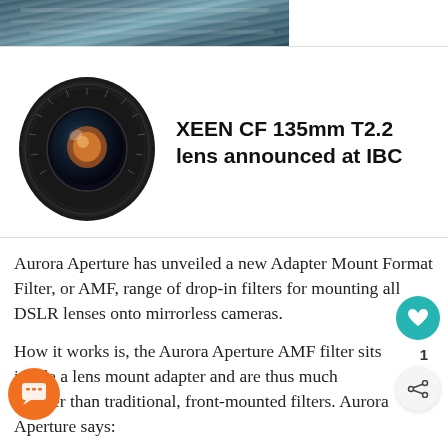[Figure (photo): Partial view of water/ocean scene cropped at top]
[Figure (photo): Black XEEN CF 135mm T2.2 cinema lens on white background]
XEEN CF 135mm T2.2 lens announced at IBC
Aurora Aperture has unveiled a new Adapter Mount Format Filter, or AMF, range of drop-in filters for mounting all DSLR lenses onto mirrorless cameras.
How it works is, the Aurora Aperture AMF filter sits inside a lens mount adapter and are thus much smaller than traditional, front-mounted filters. Aurora Aperture says:
The AMF drop-in filters work extremely well